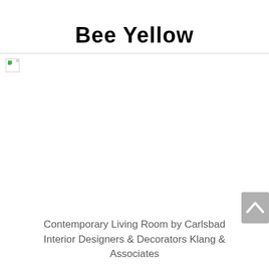Bee Yellow
[Figure (photo): A broken/missing image placeholder icon in the top-left corner of a large white image area with a horizontal gray border line]
[Figure (other): Gray scroll-to-top button with upward chevron arrow in bottom-right area]
Contemporary Living Room by Carlsbad Interior Designers & Decorators Klang & Associates